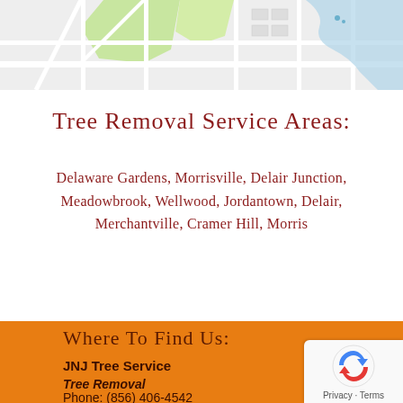[Figure (map): Street/road map showing an area with green parks, roads, and blue water features]
Tree Removal Service Areas:
Delaware Gardens, Morrisville, Delair Junction, Meadowbrook, Wellwood, Jordantown, Delair, Merchantville, Cramer Hill, Morris
Where To Find Us:
JNJ Tree Service
Tree Removal
Phone: (856) 406-4542